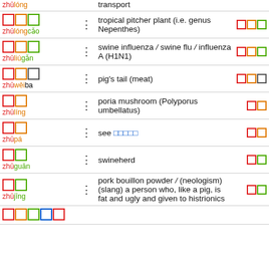zhūlóng — transport
zhūlóngcǎo — tropical pitcher plant (i.e. genus Nepenthes)
zhūliúgǎn — swine influenza / swine flu / influenza A (H1N1)
zhūwěiba — pig's tail (meat)
zhūlíng — poria mushroom (Polyporus umbellatus)
zhūpá — see [Chinese characters]
zhūguān — swineherd
zhūjīng — pork bouillon powder / (neologism) (slang) a person who, like a pig, is fat and ugly and given to histrionics
zhū... (partial entry at bottom)